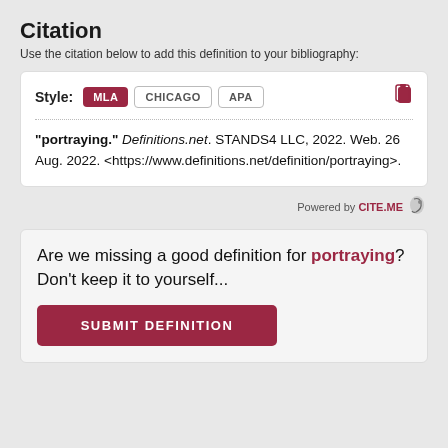Citation
Use the citation below to add this definition to your bibliography:
Style: MLA CHICAGO APA
"portraying." Definitions.net. STANDS4 LLC, 2022. Web. 26 Aug. 2022. <https://www.definitions.net/definition/portraying>.
Powered by CITE.ME
Are we missing a good definition for portraying? Don't keep it to yourself...
SUBMIT DEFINITION